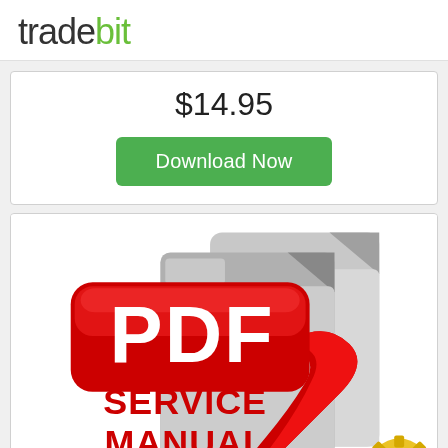tradebit
$14.95
Download Now
[Figure (illustration): PDF Service Manual icon — a grey document/folder icon with a red rounded-rectangle badge containing white text 'PDF', red bold text 'SERVICE MANUAL' below, and a red Adobe Acrobat swash logo overlaid, with a partial gold gear visible at bottom right.]